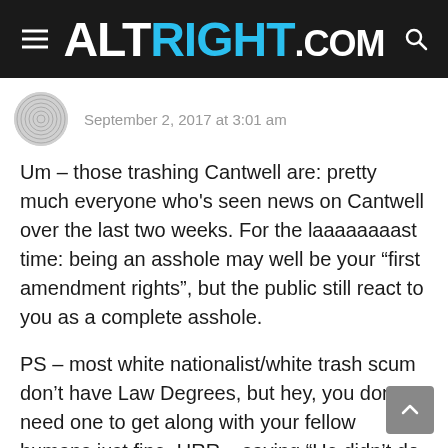ALTRIGHT.COM
September 2, 2017 at 3:01 am
Um – those trashing Cantwell are: pretty much everyone who's seen news on Cantwell over the last two weeks. For the laaaaaaaast time: being an asshole may well be your “first amendment rights”, but the public still react to you as a complete asshole.
PS – most white nationalist/white trash scum don’t have Law Degrees, but hey, you don’t need one to get along with your fellow humans just fine. URR – saying “He didn’t do nothing wrong” is not a legal or accepted police process in most